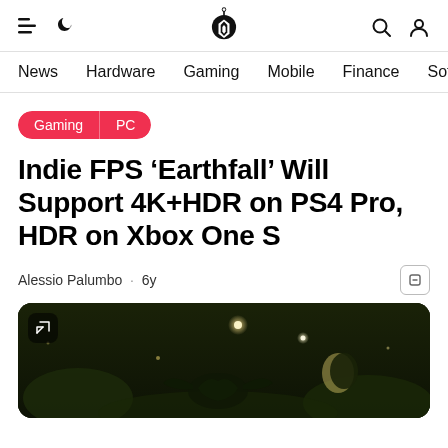Wccftech navigation header with hamburger, moon, logo, search, and account icons
News  Hardware  Gaming  Mobile  Finance  Soft
Gaming | PC
Indie FPS ‘Earthfall’ Will Support 4K+HDR on PS4 Pro, HDR on Xbox One S
Alessio Palumbo · 6y
[Figure (screenshot): Dark game screenshot showing a dimly lit scene with glowing lights and creatures in a night setting from the game Earthfall]